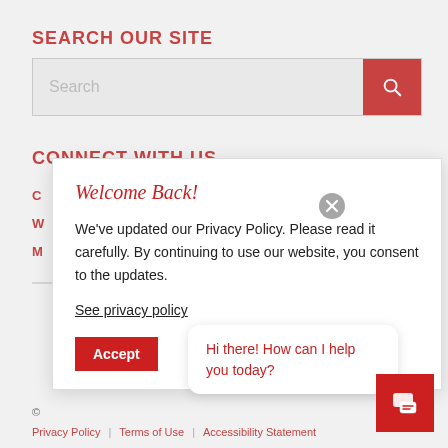SEARCH OUR SITE
[Figure (screenshot): Search input box with placeholder text 'Search' and a red search button with magnifying glass icon]
CONNECT WITH US
C
W
M
[Figure (screenshot): Modal popup with title 'Welcome Back!', text about updated Privacy Policy, a 'See privacy policy' link, a close (X) button, and an Accept button. Also shows a chat bubble saying 'Hi there! How can I help you today?' with a red chat icon button.]
Privacy Policy | Terms of Use | Accessibility Statement